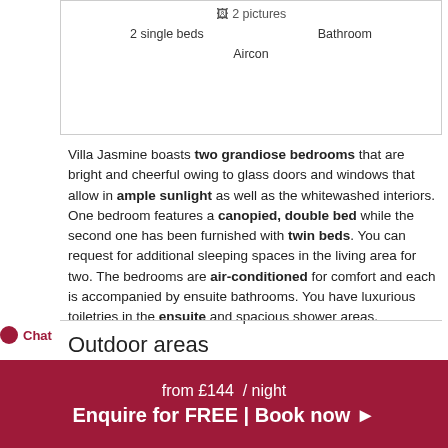2 pictures
2 single beds   Bathroom
Aircon
Villa Jasmine boasts two grandiose bedrooms that are bright and cheerful owing to glass doors and windows that allow in ample sunlight as well as the whitewashed interiors. One bedroom features a canopied, double bed while the second one has been furnished with twin beds. You can request for additional sleeping spaces in the living area for two. The bedrooms are air-conditioned for comfort and each is accompanied by ensuite bathrooms. You have luxurious toiletries in the ensuite and spacious shower areas.
Outdoor areas
Villa Jasmine Garden
from £144 / night
Enquire for FREE | Book now ➤
Chat